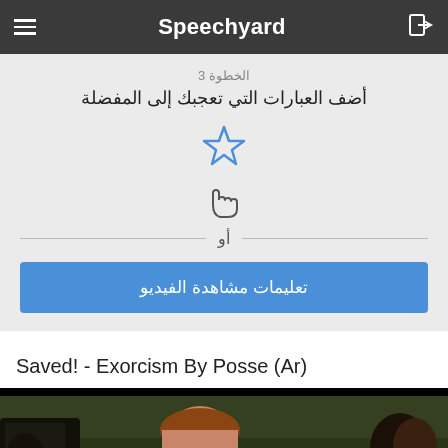Speechyard
الخطوة 3
أضف العبارات التي تعجبك إلى المفضلة
[Figure (illustration): Blue star icon with a hand/cursor pointer below it, indicating a click/tap action to add to favorites]
أو
تعليمات مشاهدة الفيديو
Saved! - Exorcism By Posse (Ar)
[Figure (photo): Movie scene screenshot showing people outdoors near a vehicle, partial view of faces]